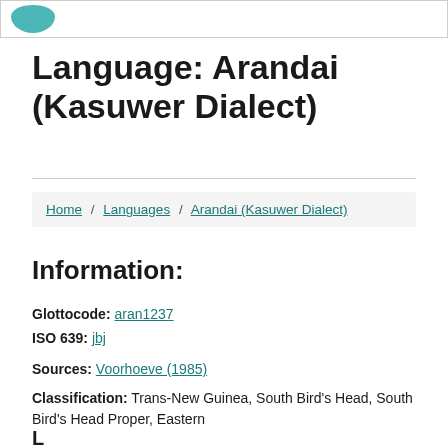[Figure (logo): Website logo placeholder in teal/green color]
Language: Arandai (Kasuwer Dialect)
Home / Languages / Arandai (Kasuwer Dialect)
Information:
Glottocode: aran1237
ISO 639: jbj
Sources: Voorhoeve (1985)
Classification: Trans-New Guinea, South Bird's Head, South Bird's Head Proper, Eastern